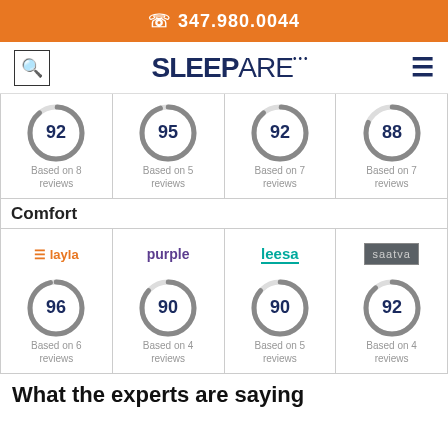347.980.0044
[Figure (logo): Sleepare logo with search and hamburger menu]
| Col1 | Col2 | Col3 | Col4 |
| --- | --- | --- | --- |
| 92 Based on 8 reviews | 95 Based on 5 reviews | 92 Based on 7 reviews | 88 Based on 7 reviews |
Comfort
| Layla | Purple | Leesa | Saatva |
| --- | --- | --- | --- |
| 96 Based on 6 reviews | 90 Based on 4 reviews | 90 Based on 5 reviews | 92 Based on 4 reviews |
What the experts are saying